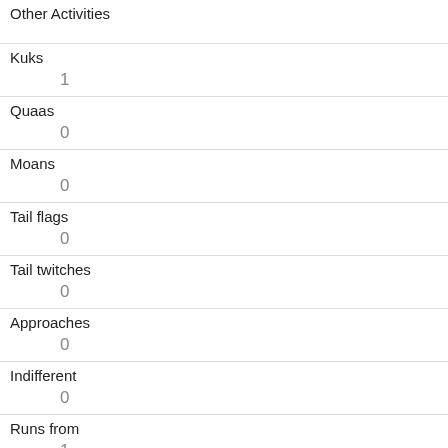| Other Activities |  |
| Kuks | 1 |
| Quaas | 0 |
| Moans | 0 |
| Tail flags | 0 |
| Tail twitches | 0 |
| Approaches | 0 |
| Indifferent | 0 |
| Runs from | 1 |
| Other Interactions |  |
| Lat/Long |  |